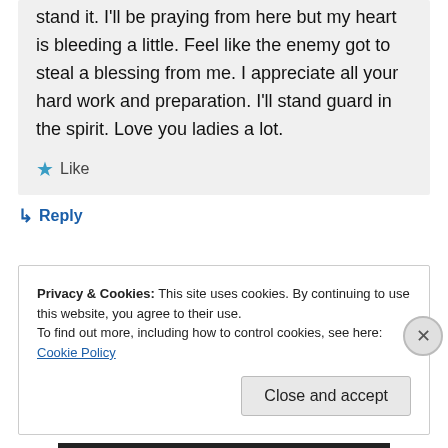stand it. I'll be praying from here but my heart is bleeding a little. Feel like the enemy got to steal a blessing from me. I appreciate all your hard work and preparation. I'll stand guard in the spirit. Love you ladies a lot.
★ Like
↳ Reply
Privacy & Cookies: This site uses cookies. By continuing to use this website, you agree to their use.
To find out more, including how to control cookies, see here: Cookie Policy
Close and accept